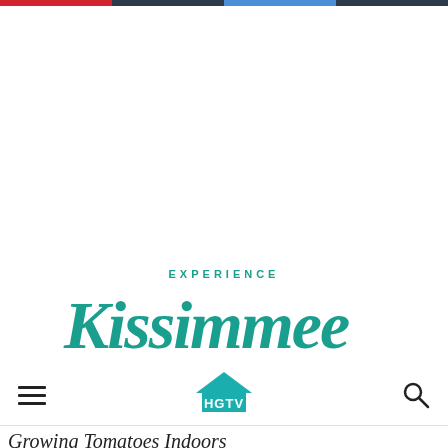[Figure (logo): Experience Kissimmee tourism logo in teal/turquoise color with stylized script lettering]
[Figure (logo): HGTV logo with house icon above the text in teal color, shown in website navigation bar]
Growing Tomatoes Indoors